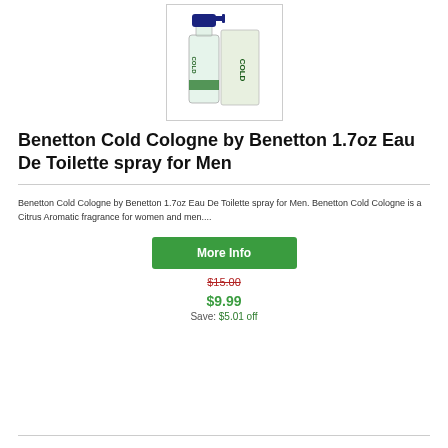[Figure (photo): Product image of Benetton Cold Cologne bottle with blue cap, clear glass bottle with 'COLD' label, shown with box]
Benetton Cold Cologne by Benetton 1.7oz Eau De Toilette spray for Men
Benetton Cold Cologne by Benetton 1.7oz Eau De Toilette spray for Men. Benetton Cold Cologne is a Citrus Aromatic fragrance for women and men....
More Info
$15.00
$9.99
Save: $5.01 off